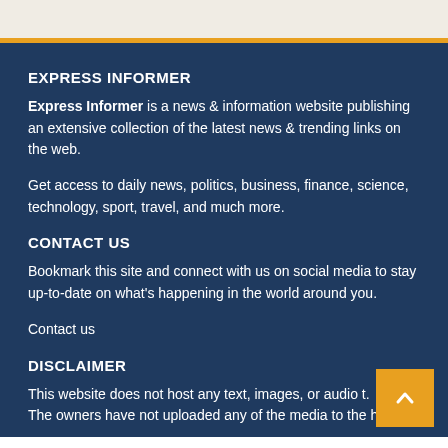EXPRESS INFORMER
Express Informer is a news & information website publishing an extensive collection of the latest news & trending links on the web.
Get access to daily news, politics, business, finance, science, technology, sport, travel, and much more.
CONTACT US
Bookmark this site and connect with us on social media to stay up-to-date on what's happening in the world around you.
Contact us
DISCLAIMER
This website does not host any text, images, or audio t. The owners have not uploaded any of the media to the hosting